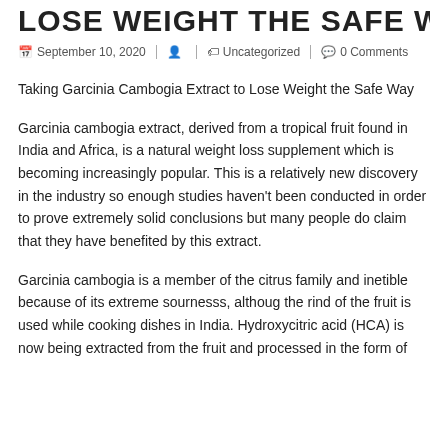LOSE WEIGHT THE SAFE WAY
September 10, 2020 | Uncategorized | 0 Comments
Taking Garcinia Cambogia Extract to Lose Weight the Safe Way
Garcinia cambogia extract, derived from a tropical fruit found in India and Africa, is a natural weight loss supplement which is becoming increasingly popular. This is a relatively new discovery in the industry so enough studies haven't been conducted in order to prove extremely solid conclusions but many people do claim that they have benefited by this extract.
Garcinia cambogia is a member of the citrus family and inetible because of its extreme sournesss, althoug the rind of the fruit is used while cooking dishes in India. Hydroxycitric acid (HCA) is now being extracted from the fruit and processed in the form of